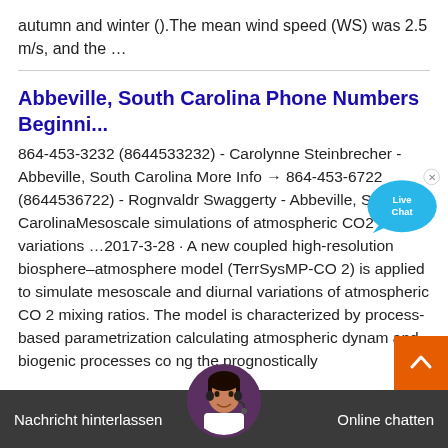autumn and winter ().The mean wind speed (WS) was 2.5 m/s, and the …
Abbeville, South Carolina Phone Numbers Beginni...
864-453-3232 (8644533232) - Carolynne Steinbrecher - Abbeville, South Carolina More Info → 864-453-6722 (8644536722) - Rognvaldr Swaggerty - Abbeville, South CarolinaMesoscale simulations of atmospheric CO2 variations …2017-3-28 · A new coupled high-resolution biosphere–atmosphere model (TerrSysMP-CO 2) is applied to simulate mesoscale and diurnal variations of atmospheric CO 2 mixing ratios. The model is characterized by process-based parametrization calculating atmospheric dynam and biogenic processes co ng the prognostically
Nachricht hinterlassen   Online chatten